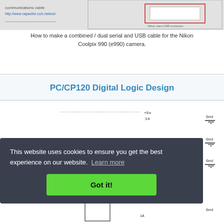[Figure (screenshot): Partial screenshot of a webpage showing a schematic or wiring diagram for Nikon camera USB/serial cable. Background is grey with partial circuit diagram visible.]
How to make a combined / dual serial and USB cable for the Nikon Coolpix 990 (e990) camera.
PC/CP120 Digital Logic Design
[Figure (schematic): Partial view of a digital logic circuit schematic showing +5v power rail, Gnd connections, and various components. Partially obscured by cookie consent banner.]
This website uses cookies to ensure you get the best experience on our website.  Learn more
Got it!